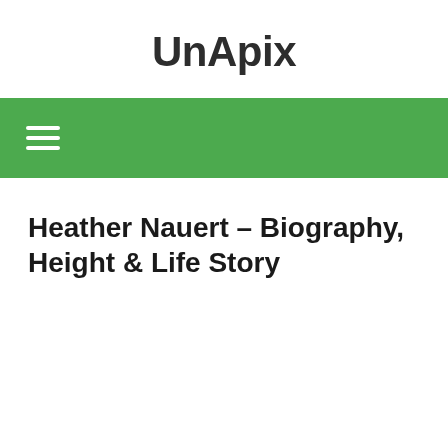UnApix
Heather Nauert – Biography, Height & Life Story